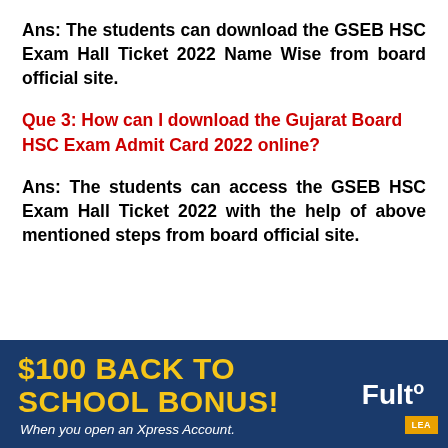Ans: The students can download the GSEB HSC Exam Hall Ticket 2022 Name Wise from board official site.
Que 3: How can I download the Gujarat Board HSC Exam Admit Card 2022 online?
Ans: The students can access the GSEB HSC Exam Hall Ticket 2022 with the help of above mentioned steps from board official site.
Que 4: Gujarat Board HSC Exam Admit...
[Figure (infographic): Banner advertisement: '$100 BACK TO SCHOOL BONUS! When you open an Xpress Account.' with Fulton Bank logo on dark blue background.]